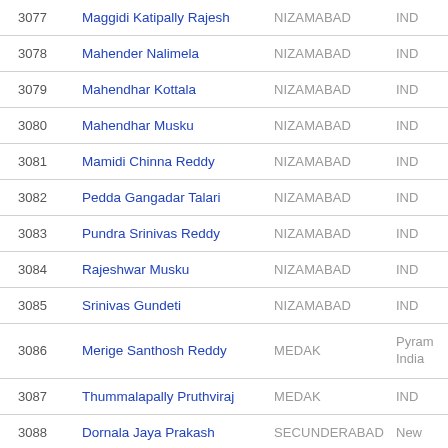| # | Name | Constituency | Party |
| --- | --- | --- | --- |
| 3077 | Maggidi Katipally Rajesh | NIZAMABAD | IND |
| 3078 | Mahender Nalimela | NIZAMABAD | IND |
| 3079 | Mahendhar Kottala | NIZAMABAD | IND |
| 3080 | Mahendhar Musku | NIZAMABAD | IND |
| 3081 | Mamidi Chinna Reddy | NIZAMABAD | IND |
| 3082 | Pedda Gangadar Talari | NIZAMABAD | IND |
| 3083 | Pundra Srinivas Reddy | NIZAMABAD | IND |
| 3084 | Rajeshwar Musku | NIZAMABAD | IND |
| 3085 | Srinivas Gundeti | NIZAMABAD | IND |
| 3086 | Merige Santhosh Reddy | MEDAK | Pyram India |
| 3087 | Thummalapally Pruthviraj | MEDAK | IND |
| 3088 | Dornala Jaya Prakash | SECUNDERABAD | New |
|  |  |  | Bahu R |